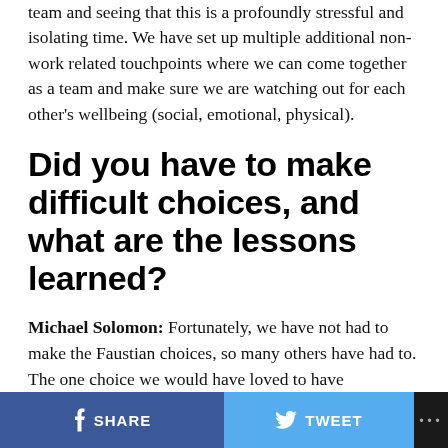team and seeing that this is a profoundly stressful and isolating time. We have set up multiple additional non-work related touchpoints where we can come together as a team and make sure we are watching out for each other's wellbeing (social, emotional, physical).
Did you have to make difficult choices, and what are the lessons learned?
Michael Solomon: Fortunately, we have not had to make the Faustian choices, so many others have had to. The one choice we would have loved to have considered, which would have been an interesting discussion, would have been to eliminate or substantially reduce our office space. Because we are in the middle of a long team lease,
SHARE   TWEET   ...